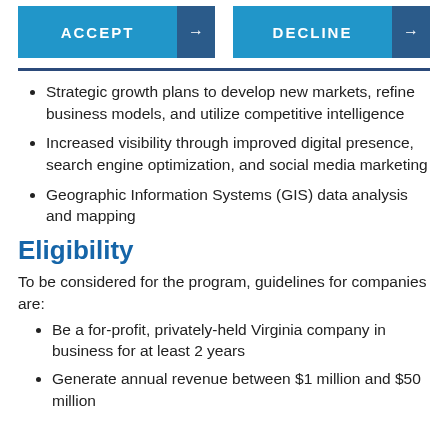[Figure (infographic): Two buttons side by side: ACCEPT (blue with dark blue arrow) and DECLINE (blue with dark blue arrow)]
Strategic growth plans to develop new markets, refine business models, and utilize competitive intelligence
Increased visibility through improved digital presence, search engine optimization, and social media marketing
Geographic Information Systems (GIS) data analysis and mapping
Eligibility
To be considered for the program, guidelines for companies are:
Be a for-profit, privately-held Virginia company in business for at least 2 years
Generate annual revenue between $1 million and $50 million